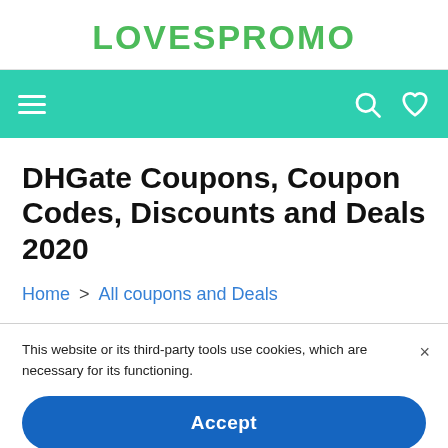LOVESPROMO
[Figure (other): Navigation bar with hamburger menu icon on left, search and heart/wishlist icons on right, on teal/green background]
DHGate Coupons, Coupon Codes, Discounts and Deals 2020
Home > All coupons and Deals
This website or its third-party tools use cookies, which are necessary for its functioning.
Accept